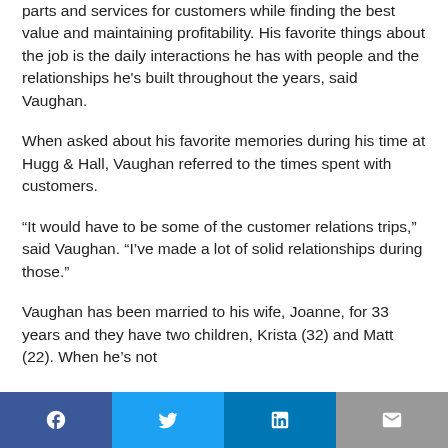parts and services for customers while finding the best value and maintaining profitability. His favorite things about the job is the daily interactions he has with people and the relationships he's built throughout the years, said Vaughan.
When asked about his favorite memories during his time at Hugg & Hall, Vaughan referred to the times spent with customers.
“It would have to be some of the customer relations trips,” said Vaughan. “I’ve made a lot of solid relationships during those.”
Vaughan has been married to his wife, Joanne, for 33 years and they have two children, Krista (32) and Matt (22). When he’s not
Facebook Twitter LinkedIn Email